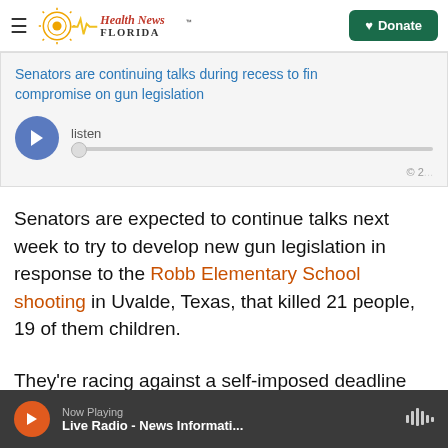Health News Florida — Donate
Senators are continuing talks during recess to find compromise on gun legislation
[Figure (screenshot): Audio player with play button, listen label, and progress bar]
Senators are expected to continue talks next week to try to develop new gun legislation in response to the Robb Elementary School shooting in Uvalde, Texas, that killed 21 people, 19 of them children.
They're racing against a self-imposed deadline set
Now Playing — Live Radio - News Informati...